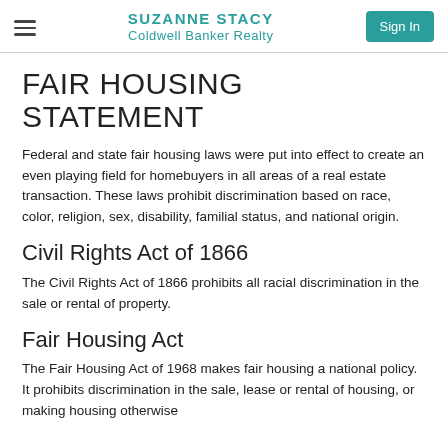SUZANNE STACY
Coldwell Banker Realty
Sign In
FAIR HOUSING STATEMENT
Federal and state fair housing laws were put into effect to create an even playing field for homebuyers in all areas of a real estate transaction. These laws prohibit discrimination based on race, color, religion, sex, disability, familial status, and national origin.
Civil Rights Act of 1866
The Civil Rights Act of 1866 prohibits all racial discrimination in the sale or rental of property.
Fair Housing Act
The Fair Housing Act of 1968 makes fair housing a national policy. It prohibits discrimination in the sale, lease or rental of housing, or making housing otherwise